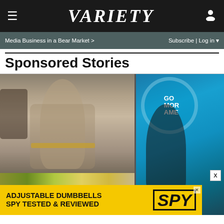VARIETY
Media Business in a Bear Market >    Subscribe | Log in ▼
Sponsored Stories
[Figure (photo): Two women on morning TV show sets — left woman in grey top with gold belt on a news/talk show set, right woman in black outfit on Good Morning America set with GMA logo visible. Food items and labeled table signs (MORNING, AFTERNOON, EVENING) visible at bottom. An advertisement banner at bottom reads: ADJUSTABLE DUMBBELLS SPY TESTED & REVIEWED with SPY logo.]